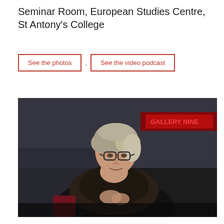Seminar Room, European Studies Centre, St Antony's College
See the photos . See the video podcast
[Figure (photo): A middle-aged woman with short grey-blonde hair wearing glasses and a dark scarf/wrap, smiling slightly, seated in what appears to be a seminar or event room with a dark background and a red illuminated sign partially visible in the upper right.]